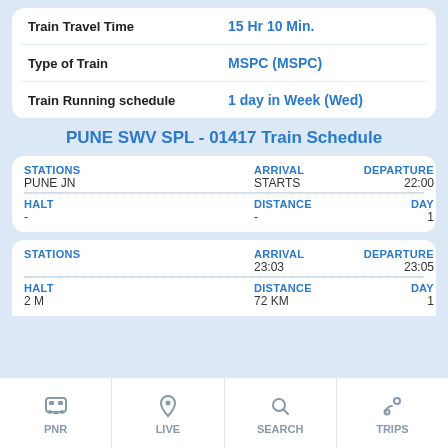|  |  |
| --- | --- |
| Train Travel Time | 15 Hr 10 Min. |
| Type of Train | MSPC (MSPC) |
| Train Running schedule | 1 day in Week (Wed) |
PUNE SWV SPL - 01417 Train Schedule
| STATIONS | ARRIVAL | DEPARTURE |
| --- | --- | --- |
| PUNE JN | STARTS | 22:00 |
| HALT: - | DISTANCE: - | DAY: 1 |
| STATIONS | ARRIVAL | DEPARTURE |
| --- | --- | --- |
|  | 23:03 | 23:05 |
| HALT: 2 M | DISTANCE: 72 KM | DAY: 1 |
PNR | LIVE | SEARCH | TRIPS